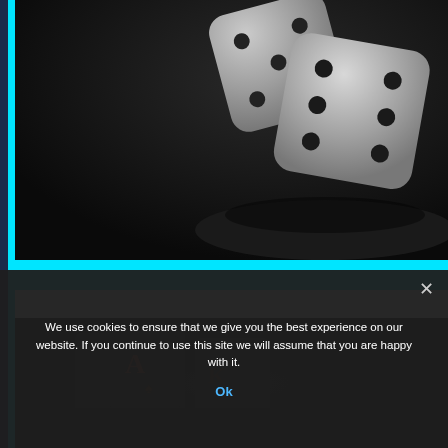[Figure (photo): Dark scene with white 3D dice on a black reflective surface, viewed from above. Two dice visible with dots showing.]
[Figure (photo): Dark scene showing playing cards with orange/red markings on a dark surface, partially visible.]
We use cookies to ensure that we give you the best experience on our website. If you continue to use this site we will assume that you are happy with it.
Ok